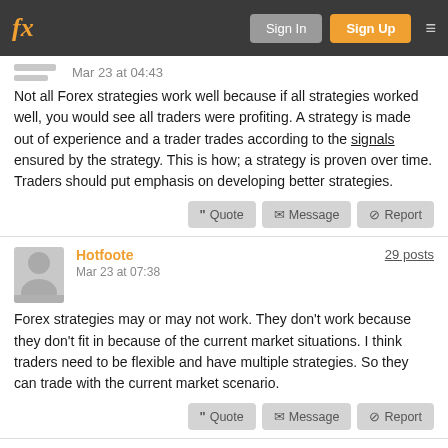fx | Sign In | Sign Up
Mar 23 at 04:43
Not all Forex strategies work well because if all strategies worked well, you would see all traders were profiting. A strategy is made out of experience and a trader trades according to the signals ensured by the strategy. This is how; a strategy is proven over time. Traders should put emphasis on developing better strategies.
Hotfoote
Mar 23 at 07:38
29 posts
Forex strategies may or may not work. They don't work because they don't fit in because of the current market situations. I think traders need to be flexible and have multiple strategies. So they can trade with the current market scenario.
PeteLanceley
83 posts